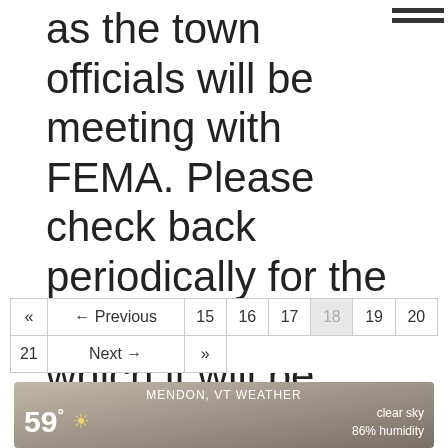as the town officials will be meeting with FEMA. Please check back periodically for the updated hours in which it will be closed. Thank you
| « | ← Previous | 15 | 16 | 17 | 18 | 19 | 20 |
| --- | --- | --- | --- | --- | --- | --- | --- |
| 21 | Next → | » |  |  |  |  |  |
[Figure (screenshot): Weather widget showing MENDON, VT WEATHER with temperature 59° and clear sky, 86% humidity]